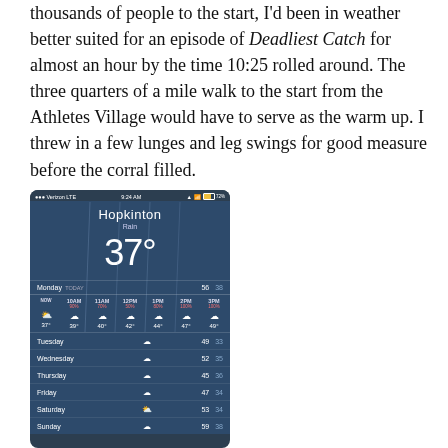thousands of people to the start, I'd been in weather better suited for an episode of Deadliest Catch for almost an hour by the time 10:25 rolled around. The three quarters of a mile walk to the start from the Athletes Village would have to serve as the warm up. I threw in a few lunges and leg swings for good measure before the corral filled.
[Figure (screenshot): iPhone weather app screenshot showing Hopkinton, Rain, 37 degrees. Monday Today row shows 56 high 38 low. Hourly forecast from 10AM to 3PM with rain cloud icons and temperatures 39 to 49 degrees. Weekly forecast shows Tuesday 49/33, Wednesday 52/35, Thursday 45/36, Friday 47/34, Saturday 53/34, Sunday 59/38.]